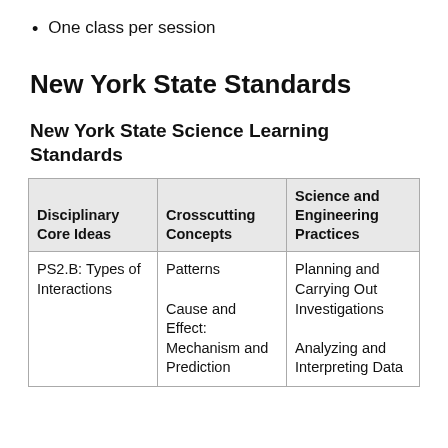One class per session
New York State Standards
New York State Science Learning Standards
| Disciplinary Core Ideas | Crosscutting Concepts | Science and Engineering Practices |
| --- | --- | --- |
| PS2.B: Types of Interactions | Patterns

Cause and Effect: Mechanism and Prediction | Planning and Carrying Out Investigations

Analyzing and Interpreting Data |